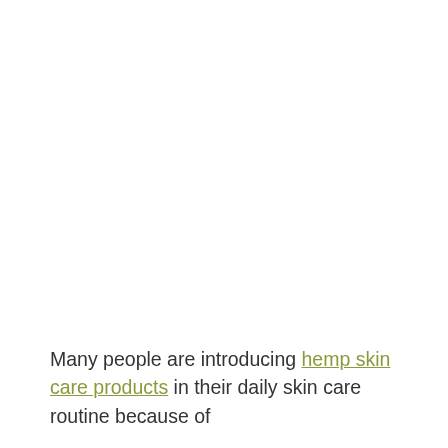Many people are introducing hemp skin care products in their daily skin care routine because of the...